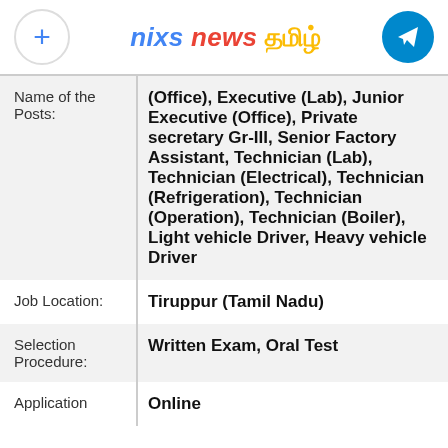nixs news தமிழ்
| Field | Value |
| --- | --- |
| Name of the Posts: | (Office), Executive (Lab), Junior Executive (Office), Private secretary Gr-III, Senior Factory Assistant, Technician (Lab), Technician (Electrical), Technician (Refrigeration), Technician (Operation), Technician (Boiler), Light vehicle Driver, Heavy vehicle Driver |
| Job Location: | Tiruppur (Tamil Nadu) |
| Selection Procedure: | Written Exam, Oral Test |
| Application | Online |